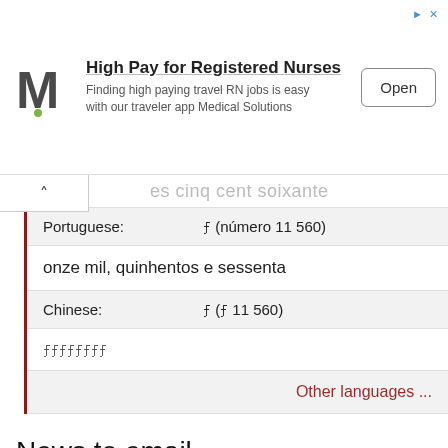[Figure (screenshot): Advertisement banner for Medical Solutions travel RN jobs with M logo, headline 'High Pay for Registered Nurses', subtitle 'Finding high paying travel RN jobs is easy with our traveler app Medical Solutions', and an Open button]
| Language | Value |
| --- | --- |
| Portuguese: | ꩸ (número 11 560) |
|  | onze mil, quinhentos e sessenta |
| Chinese: | ꩸ (꩸ 11 560) |
|  | ꩸꩸꩸꩸꩸꩸꩸꩸ |
Other languages ...
News to email